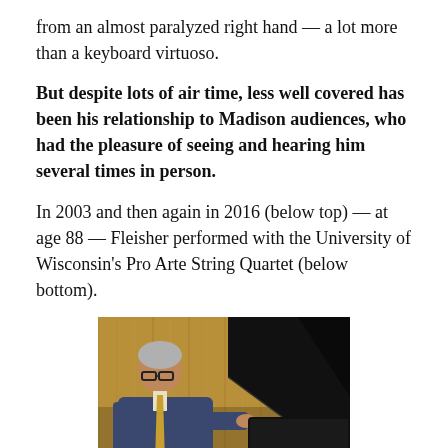from an almost paralyzed right hand — a lot more than a keyboard virtuoso.
But despite lots of air time, less well covered has been his relationship to Madison audiences, who had the pleasure of seeing and hearing him several times in person.
In 2003 and then again in 2016 (below top) — at age 88 — Fleisher performed with the University of Wisconsin's Pro Arte String Quartet (below bottom).
[Figure (photo): A man in a dark blue suit with a yellow tie standing next to a black grand piano, with a wood-paneled wall in the background.]